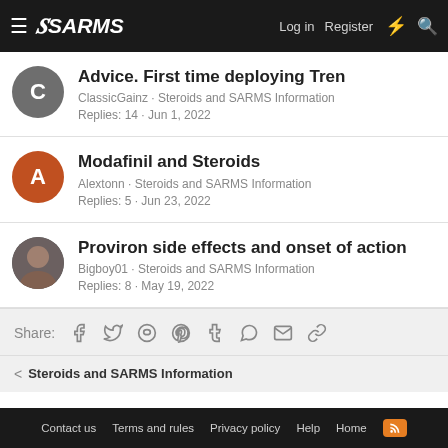ISARMS — Log in  Register
Advice. First time deploying Tren
ClassicGainz · Steroids and SARMS Information
Replies: 14 · Jun 1, 2022
Modafinil and Steroids
Alextonn · Steroids and SARMS Information
Replies: 5 · Jun 23, 2022
Proviron side effects and onset of action
Bigboy01 · Steroids and SARMS Information
Replies: 8 · May 19, 2022
Share:
< Steroids and SARMS Information
Contact us  Terms and rules  Privacy policy  Help  Home